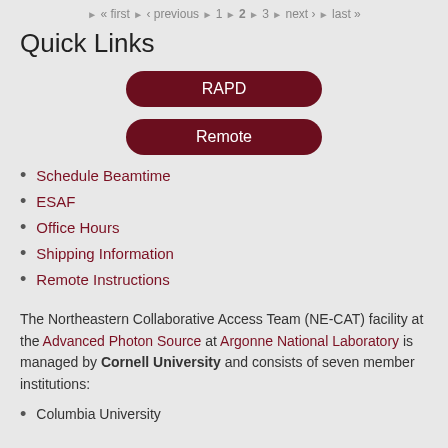« first ‹ previous 1 2 3 next › last »
Quick Links
[Figure (other): Two dark red rounded button links: RAPD and Remote]
Schedule Beamtime
ESAF
Office Hours
Shipping Information
Remote Instructions
The Northeastern Collaborative Access Team (NE-CAT) facility at the Advanced Photon Source at Argonne National Laboratory is managed by Cornell University and consists of seven member institutions:
Columbia University